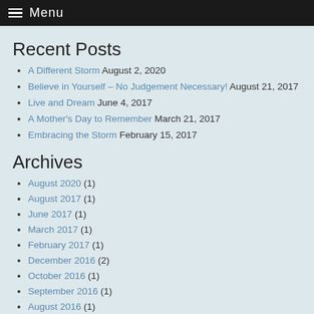Menu
Recent Posts
A Different Storm August 2, 2020
Believe in Yourself – No Judgement Necessary! August 21, 2017
Live and Dream June 4, 2017
A Mother's Day to Remember March 21, 2017
Embracing the Storm February 15, 2017
Archives
August 2020 (1)
August 2017 (1)
June 2017 (1)
March 2017 (1)
February 2017 (1)
December 2016 (2)
October 2016 (1)
September 2016 (1)
August 2016 (1)